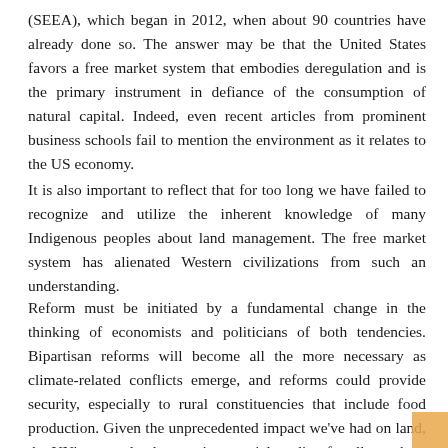(SEEA), which began in 2012, when about 90 countries have already done so. The answer may be that the United States favors a free market system that embodies deregulation and is the primary instrument in defiance of the consumption of natural capital. Indeed, even recent articles from prominent business schools fail to mention the environment as it relates to the US economy.
It is also important to reflect that for too long we have failed to recognize and utilize the inherent knowledge of many Indigenous peoples about land management. The free market system has alienated Western civilizations from such an understanding.
Reform must be initiated by a fundamental change in the thinking of economists and politicians of both tendencies. Bipartisan reforms will become all the more necessary as climate-related conflicts emerge, and reforms could provide security, especially to rural constituencies that include food production. Given the unprecedented impact we've had on land, the UN's recent land report is essential reading for all members of Congress as they think about economic policy, not just climate change. climate action.